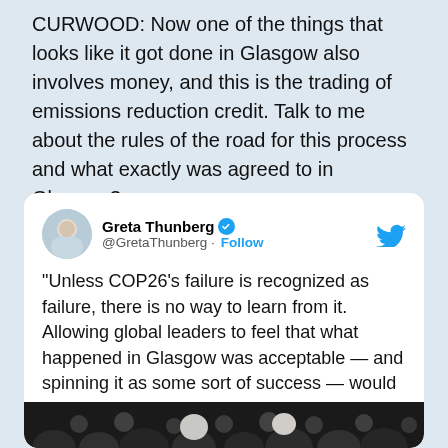CURWOOD: Now one of the things that looks like it got done in Glasgow also involves money, and this is the trading of emissions reduction credit. Talk to me about the rules of the road for this process and what exactly was agreed to in Glasgow?
[Figure (screenshot): Embedded tweet from Greta Thunberg (@GretaThunberg) with Follow button and Twitter bird logo. Tweet text: "Unless COP26's failure is recognized as failure, there is no way to learn from it. Allowing global leaders to feel that what happened in Glasgow was acceptable — and spinning it as some sort of success — would be a disastrous mistake." #COP26. Below the text is a partially visible photo of a crowd.]